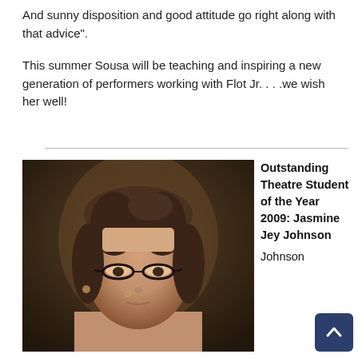And sunny disposition and good attitude go right along with that advice”.
This summer Sousa will be teaching and inspiring a new generation of performers working with Flot Jr. . . .we wish her well!
[Figure (photo): Portrait photo of a young woman with glasses and hair pulled back, in a dark-toned setting.]
Outstanding Theatre Student of the Year 2009: Jasmine Jey Johnson

Johnson